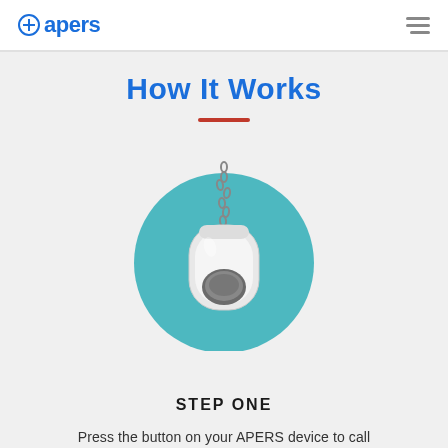apers
How It Works
[Figure (illustration): A medical alert pendant device on a ball chain necklace, shown against a teal circular background. The device is white/silver with a round dark button in the center.]
STEP ONE
Press the button on your APERS device to call